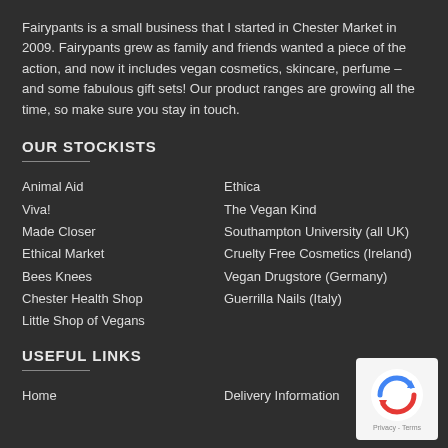Fairypants is a small business that I started in Chester Market in 2009. Fairypants grew as family and friends wanted a piece of the action, and now it includes vegan cosmetics, skincare, perfume – and some fabulous gift sets! Our product ranges are growing all the time, so make sure you stay in touch.
OUR STOCKISTS
Animal Aid
Ethica
Viva!
The Vegan Kind
Made Closer
Southampton University (all UK)
Ethical Market
Cruelty Free Cosmetics (Ireland)
Bees Knees
Vegan Drugstore (Germany)
Chester Health Shop
Guerrilla Nails (Italy)
Little Shop of Vegans
USEFUL LINKS
Home
Delivery Information